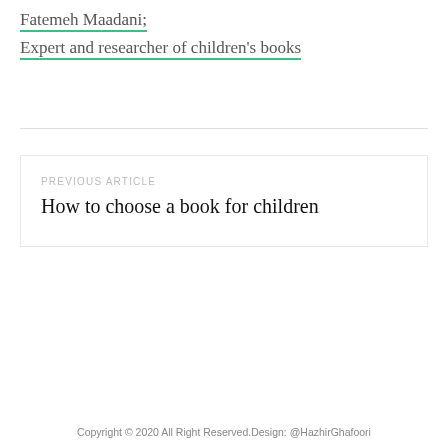Fatemeh Maadani;
Expert and researcher of children's books
PREVIOUS ARTICLE
How to choose a book for children
Copyright © 2020 All Right Reserved.Design: @HazhirGhafoori